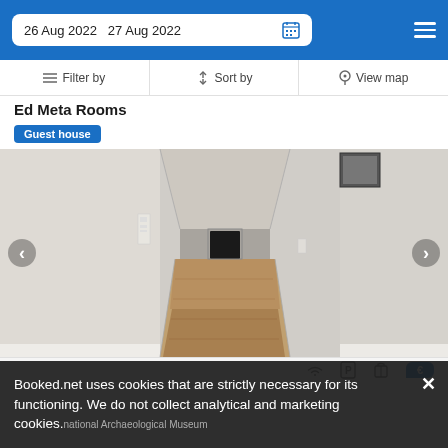26 Aug 2022  27 Aug 2022
Filter by  Sort by  View map
Ed Meta Rooms
Guest house
[Figure (photo): Interior corridor/hallway photo showing a narrow passage with white walls, a wooden plank floor, and a dark door at the far end. Navigation arrows (< >) on both sides for an image carousel.]
Booked.net uses cookies that are strictly necessary for its functioning. We do not collect analytical and marketing cookies.